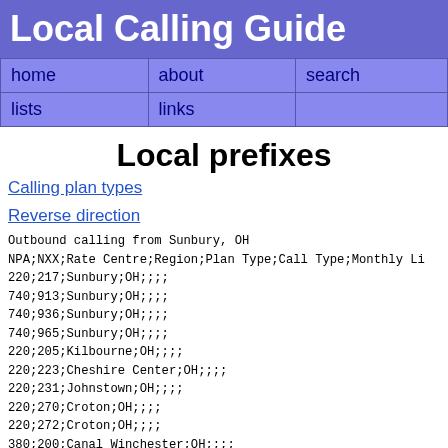Local Calling Guide
| home | about | search |  |
| --- | --- | --- | --- |
| lists | links |  |  |
Local prefixes
Calling plan types
Reverse direction
Outbound calling from Sunbury, OH
NPA;NXX;Rate Centre;Region;Plan Type;Call Type;Monthly L...
220;217;Sunbury;OH;;
740;913;Sunbury;OH;;
740;936;Sunbury;OH;;
740;965;Sunbury;OH;;
220;205;Kilbourne;OH;;
220;223;Cheshire Center;OH;;
220;231;Johnstown;OH;;
220;270;Croton;OH;;
220;272;Croton;OH;;
380;200;Canal Winchester;OH;;
380;201;Columbus;OH;;
380;202;Reynoldsburg;OH;;